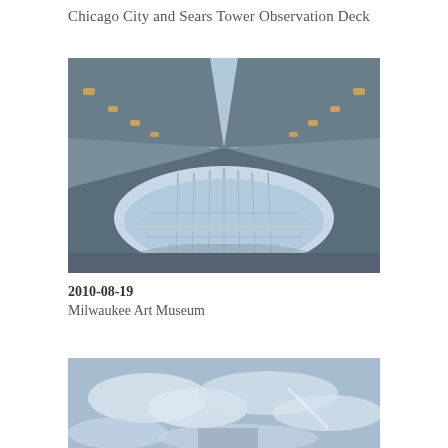Chicago City and Sears Tower Observation Deck
[Figure (photo): Interior architectural photo of the Milwaukee Art Museum showing geometric ceiling structures with recessed lighting and a large curved glass window wall reflecting the lake view below]
2010-08-19
Milwaukee Art Museum
[Figure (photo): Exterior or aerial photo with cloudy blue sky, partially visible]